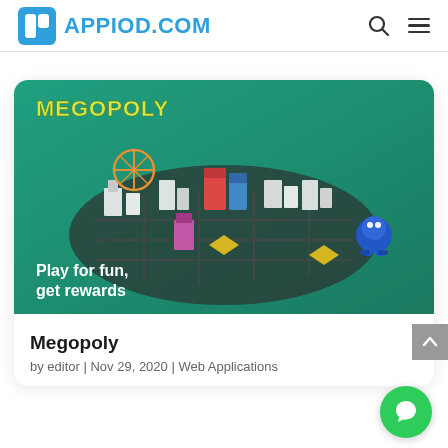APPIOD.COM
[Figure (screenshot): Megopoly game promotional image showing isometric city board game with colorful buildings on a green gradient background. Text reads 'MEGOPOLY' and 'Play for fun, get rewards']
Megopoly
by editor | Nov 29, 2020 | Web Applications